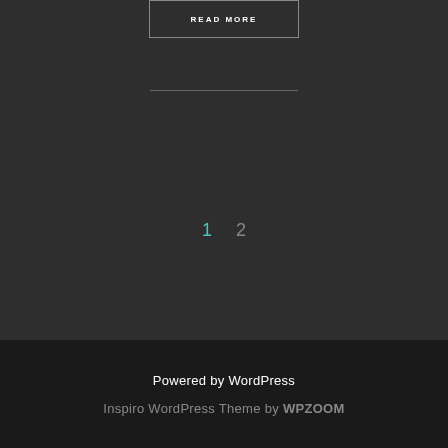READ MORE
1  2
Powered by WordPress
Inspiro WordPress Theme by WPZOOM